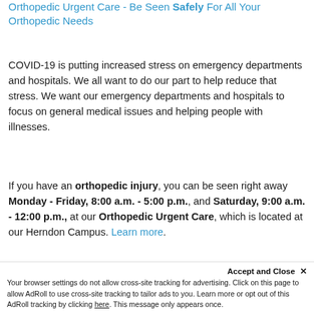Orthopedic Urgent Care - Be Seen Safely For All Your Orthopedic Needs
COVID-19 is putting increased stress on emergency departments and hospitals. We all want to do our part to help reduce that stress. We want our emergency departments and hospitals to focus on general medical issues and helping people with illnesses.
If you have an orthopedic injury, you can be seen right away Monday - Friday, 8:00 a.m. - 5:00 p.m., and Saturday, 9:00 a.m. - 12:00 p.m., at our Orthopedic Urgent Care, which is located at our Herndon Campus. Learn more.
Accept and Close × Your browser settings do not allow cross-site tracking for advertising. Click on this page to allow AdRoll to use cross-site tracking to tailor ads to you. Learn more or opt out of this AdRoll tracking by clicking here. This message only appears once.